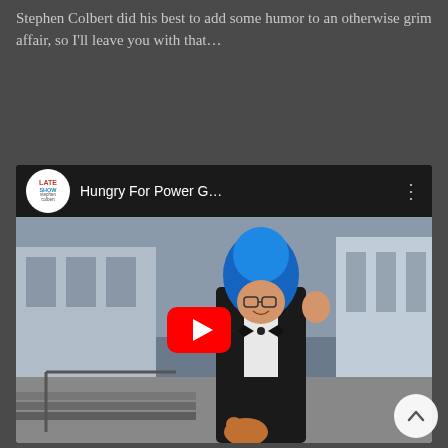Stephen Colbert did his best to add some humor to an otherwise grim affair, so I'll leave you with that…
[Figure (screenshot): YouTube video embed showing 'Hungry For Power G...' from Late Show with Stephen Colbert channel. Thumbnail shows a man in a tuxedo with exaggerated blue hair holding a small animal, standing outside a building. YouTube play button visible in center.]